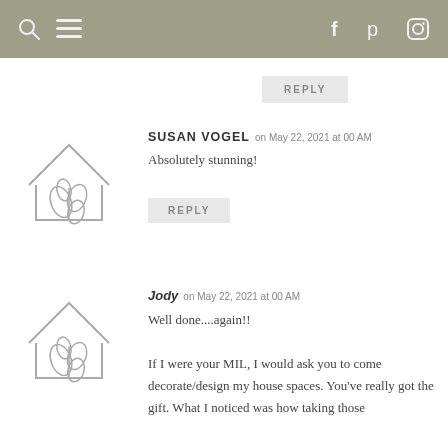Navigation bar with search, menu, facebook, pinterest, instagram icons
REPLY
SUSAN VOGEL on May 22, 2021 at 00 AM
Absolutely stunning!
REPLY
Jody on May 22, 2021 at 00 AM
Well done....again!!
If I were your MIL, I would ask you to come decorate/design my house spaces. You've really got the gift. What I noticed was how taking those